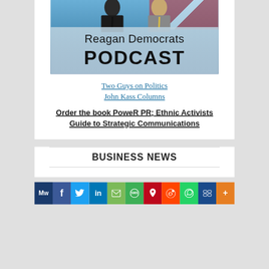[Figure (photo): Reagan Democrats Podcast banner image with two men in suits against an American flag background, with text 'Reagan Democrats PODCAST']
Two Guys on Politics
John Kass Columns
Order the book PoweR PR; Ethnic Activists Guide to Strategic Communications
BUSINESS NEWS
[Figure (infographic): Social media sharing bar with icons: MW, Facebook, Twitter, LinkedIn, Email, SMS, Pinterest, Reddit, WhatsApp, Share, More]